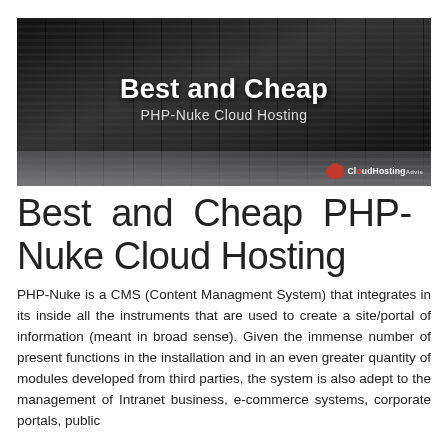[Figure (photo): Data center server room corridor with rows of black server racks on both sides, overhead text overlay reading 'Best and Cheap PHP-Nuke Cloud Hosting', CloudHostingAdvisor logo in bottom right]
Best and Cheap PHP-Nuke Cloud Hosting
PHP-Nuke is a CMS (Content Managment System) that integrates in its inside all the instruments that are used to create a site/portal of information (meant in broad sense). Given the immense number of present functions in the installation and in an even greater quantity of modules developed from third parties, the system is also adept to the management of Intranet business, e-commerce systems, corporate portals, public